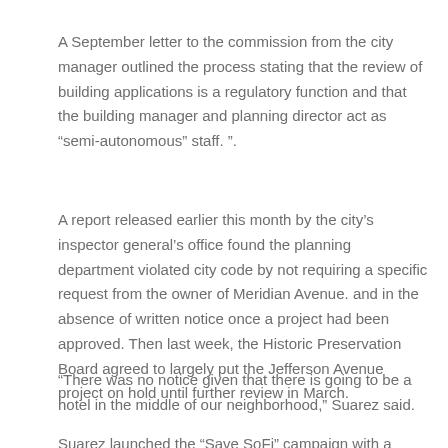A September letter to the commission from the city manager outlined the process stating that the review of building applications is a regulatory function and that the building manager and planning director act as “semi-autonomous” staff. ”.
A report released earlier this month by the city’s inspector general’s office found the planning department violated city code by not requiring a specific request from the owner of Meridian Avenue. and in the absence of written notice once a project had been approved. Then last week, the Historic Preservation Board agreed to largely put the Jefferson Avenue project on hold until further review in March.
“There was no notice given that there is going to be a hotel in the middle of our neighborhood,” Suarez said.
Suarez launched the “Save SoFi” campaign with a website outlining residents’ concerns about the projects, including noise, lack of parking and less security. The developer of the Jefferson Avenue